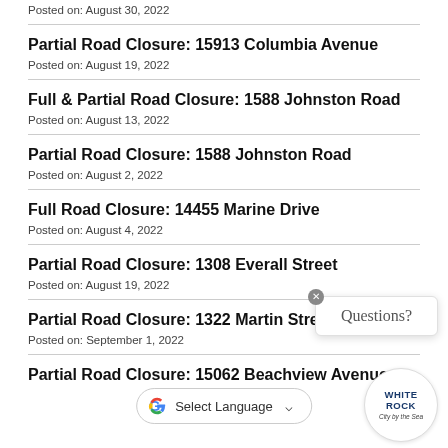Posted on: August 30, 2022
Partial Road Closure: 15913 Columbia Avenue
Posted on: August 19, 2022
Full & Partial Road Closure: 1588 Johnston Road
Posted on: August 13, 2022
Partial Road Closure: 1588 Johnston Road
Posted on: August 2, 2022
Full Road Closure: 14455 Marine Drive
Posted on: August 4, 2022
Partial Road Closure: 1308 Everall Street
Posted on: August 19, 2022
Partial Road Closure: 1322 Martin Street
Posted on: September 1, 2022
Partial Road Closure: 15062 Beachview Avenue